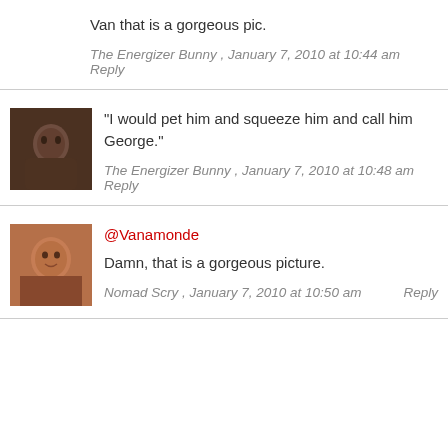Van that is a gorgeous pic.
The Energizer Bunny , January 7, 2010 at 10:44 am  Reply
“I would pet him and squeeze him and call him George.”
The Energizer Bunny , January 7, 2010 at 10:48 am  Reply
@Vanamonde
Damn, that is a gorgeous picture.
Nomad Scry , January 7, 2010 at 10:50 am  Reply